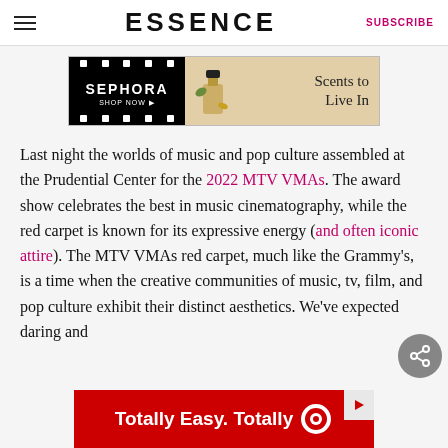ESSENCE   SUBSCRIBE
[Figure (illustration): Sephora advertisement banner: black left panel with film strip borders and 'SEPHORA SHOP NOW' text; right panel with beige background, perfume bottle illustration, and 'Scents to Live In' text]
Last night the worlds of music and pop culture assembled at the Prudential Center for the 2022 MTV VMAs. The award show celebrates the best in music cinematography, while the red carpet is known for its expressive energy (and often iconic attire). The MTV VMAs red carpet, much like the Grammy's, is a time when the creative communities of music, tv, film, and pop culture exhibit their distinct aesthetics. We've expected daring and
[Figure (illustration): Target advertisement banner: red background with white text 'Totally Easy. Totally' followed by Target bullseye logo]